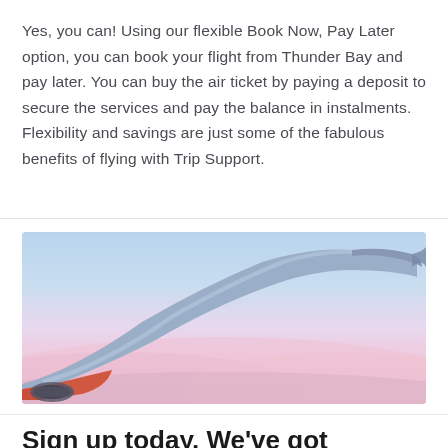Yes, you can! Using our flexible Book Now, Pay Later option, you can book your flight from Thunder Bay and pay later. You can buy the air ticket by paying a deposit to secure the services and pay the balance in instalments. Flexibility and savings are just some of the fabulous benefits of flying with Trip Support.
[Figure (photo): Photo of an airplane wing viewed from a window seat, with a blue sky above and pink/purple clouds below, taken during sunset or sunrise.]
Sign up today. We've got